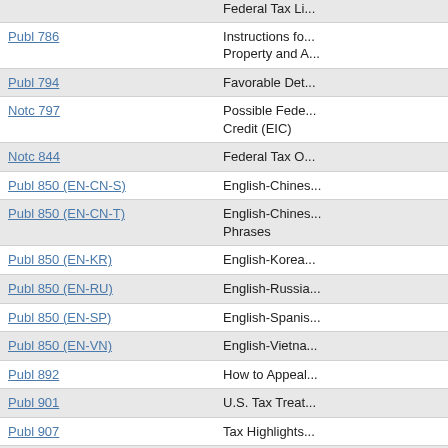| Publication | Description |
| --- | --- |
|  | Federal Tax Li... |
| Publ 786 | Instructions fo... Property and A... |
| Publ 794 | Favorable Det... |
| Notc 797 | Possible Fede... Credit (EIC) |
| Notc 844 | Federal Tax O... |
| Publ 850 (EN-CN-S) | English-Chines... |
| Publ 850 (EN-CN-T) | English-Chines... Phrases |
| Publ 850 (EN-KR) | English-Korea... |
| Publ 850 (EN-RU) | English-Russia... |
| Publ 850 (EN-SP) | English-Spanis... |
| Publ 850 (EN-VN) | English-Vietna... |
| Publ 892 | How to Appeal... |
| Publ 901 | U.S. Tax Treat... |
| Publ 907 | Tax Highlights... |
| Publ 908 | Bankruptcy Ta... |
| Publ 915 | Social Security... |
| Publ 925 | Passive Activit... |